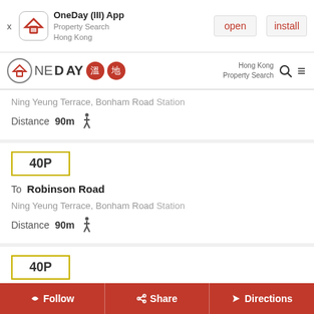[Figure (screenshot): App install banner for OneDay (III) App - Property Search Hong Kong with open and install buttons]
[Figure (logo): OneDay logo with Chinese character badges, Hong Kong Property Search navigation bar with search and menu icons]
Ning Yeung Terrace, Bonham Road Station
Distance 90m [walking icon]
40P
To Robinson Road
Ning Yeung Terrace, Bonham Road Station
Distance 90m [walking icon]
40P
Follow  Share  Directions